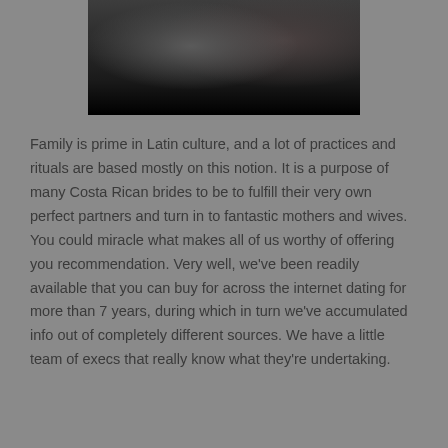[Figure (photo): Partial photo of two people, dark/moody tones, upper portion cropped]
Family is prime in Latin culture, and a lot of practices and rituals are based mostly on this notion. It is a purpose of many Costa Rican brides to be to fulfill their very own perfect partners and turn in to fantastic mothers and wives. You could miracle what makes all of us worthy of offering you recommendation. Very well, we've been readily available that you can buy for across the internet dating for more than 7 years, during which in turn we've accumulated info out of completely different sources. We have a little team of execs that really know what they're undertaking.